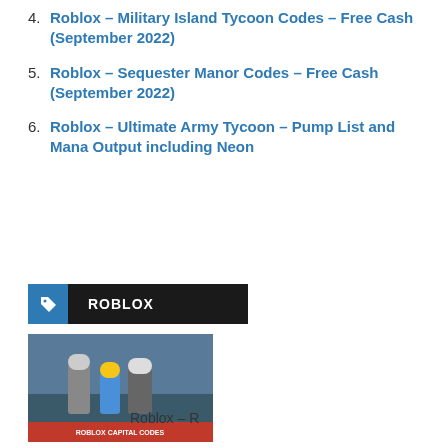4. Roblox – Military Island Tycoon Codes – Free Cash (September 2022)
5. Roblox – Sequester Manor Codes – Free Cash (September 2022)
6. Roblox – Ultimate Army Tycoon – Pump List and Mana Output including Neon
[Figure (screenshot): Tag bar with blue icon and black ROBLOX label, followed by a thumbnail image of Roblox characters and a white popup overlay with close button and media controls (play, mute)]
Roblox –